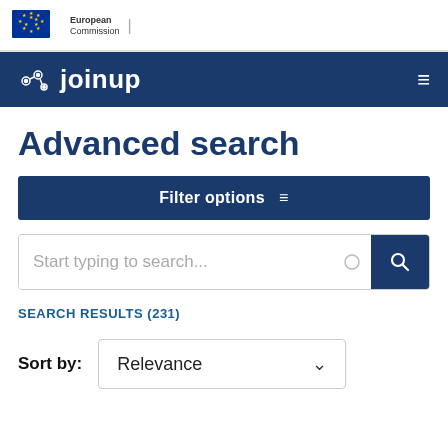[Figure (logo): European Commission logo with EU stars flag and text 'European Commission']
[Figure (logo): Joinup platform navigation bar with joinup logo and hamburger menu icon on dark blue background]
Advanced search
Filter options
Start typing to search...
SEARCH RESULTS (231)
Sort by: Relevance